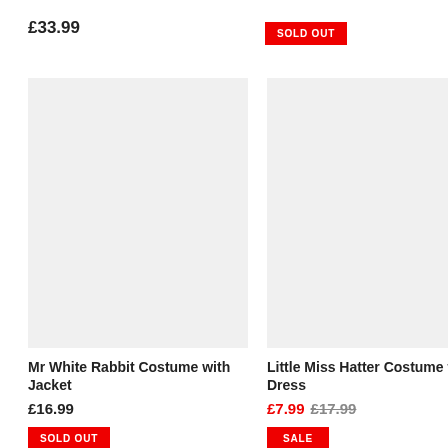£33.99
SOLD OUT
[Figure (photo): Product image placeholder for Mr White Rabbit Costume with Jacket — light grey rectangle]
Mr White Rabbit Costume with Jacket
£16.99
SOLD OUT
[Figure (photo): Product image placeholder for Little Miss Hatter Costume with Dress — light grey rectangle]
Little Miss Hatter Costume with Dress
£7.99 £17.99
SALE